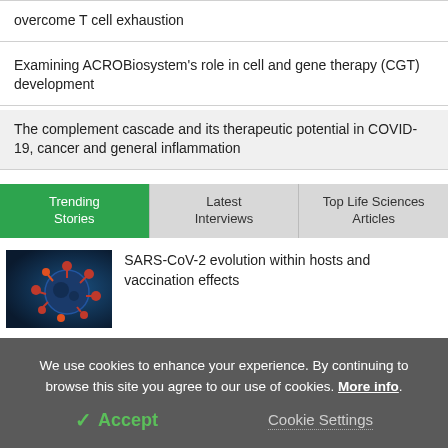overcome T cell exhaustion
Examining ACROBiosystem's role in cell and gene therapy (CGT) development
The complement cascade and its therapeutic potential in COVID-19, cancer and general inflammation
Trending Stories | Latest Interviews | Top Life Sciences Articles
SARS-CoV-2 evolution within hosts and vaccination effects
We use cookies to enhance your experience. By continuing to browse this site you agree to our use of cookies. More info.
✓ Accept | Cookie Settings